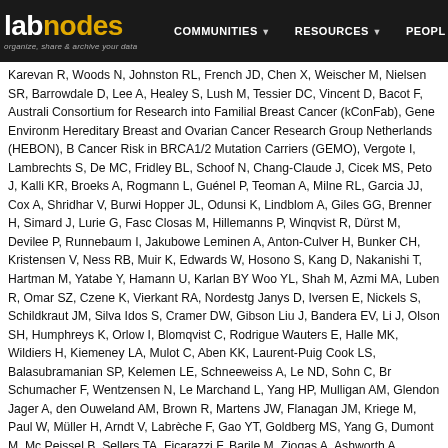labnodes — organize, share & archive your data | COMMUNITIES | RESOURCES | PEOPLE
Karevan R, Woods N, Johnston RL, French JD, Chen X, Weischer M, Nielsen SR, Barrowdale D, Lee A, Healey S, Lush M, Tessier DC, Vincent D, Bacot F, Australian Consortium for Research into Familial Breast Cancer (kConFab), Gene Environment, Hereditary Breast and Ovarian Cancer Research Group Netherlands (HEBON), B Cancer Risk in BRCA1/2 Mutation Carriers (GEMO), Vergote I, Lambrechts S, De MC, Fridley BL, Schoof N, Chang-Claude J, Cicek MS, Peto J, Kalli KR, Broeks A, Rogmann L, Guénel P, Teoman A, Milne RL, Garcia JJ, Cox A, Shridhar V, Burwi Hopper JL, Odunsi K, Lindblom A, Giles GG, Brenner H, Simard J, Lurie G, Fasc Closas M, Hillemanns P, Winqvist R, Dürst M, Devilee P, Runnebaum I, Jakubowe Leminen A, Anton-Culver H, Bunker CH, Kristensen V, Ness RB, Muir K, Edwards W, Hosono S, Kang D, Nakanishi T, Hartman M, Yatabe Y, Hamann U, Karlan BY Woo YL, Shah M, Azmi MA, Luben R, Omar SZ, Czene K, Vierkant RA, Nordestg Janys D, Iversen E, Nickels S, Schildkraut JM, Silva Idos S, Cramer DW, Gibson Liu J, Bandera EV, Li J, Olson SH, Humphreys K, Orlow I, Blomqvist C, Rodrigue Wauters E, Halle MK, Wildiers H, Kiemeney LA, Mulot C, Aben KK, Laurent-Puig Cook LS, Balasubramanian SP, Kelemen LE, Schneeweiss A, Le ND, Sohn C, Br Schumacher F, Wentzensen N, Le Marchand L, Yang HP, Mulligan AM, Glendon Jager A, den Ouweland AM, Brown R, Martens JW, Flanagan JM, Kriege M, Paul W, Müller H, Arndt V, Labrèche F, Gao YT, Goldberg MS, Yang G, Dumont M, Mc Peissel B, Sellers TA, Ficarazzi F, Barile M, Ziogas A, Ashworth A, Gentry-Mahara J, Figueroa J, Kupryjanczyk J, Chanock SJ, Dansonka-Mieszkowska A, Jukkola-Y Tollenaar RA, Durda K, Jaworska K, Hartikainen JM, Kosma VM, Kataja V, Anton